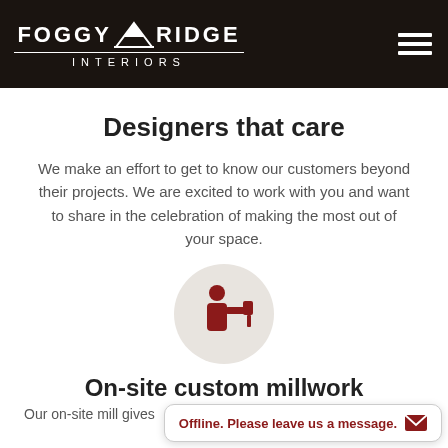FOGGY RIDGE INTERIORS
Designers that care
We make an effort to get to know our customers beyond their projects. We are excited to work with you and want to share in the celebration of making the most out of your space.
[Figure (illustration): Dark red icon of a person using a tool (hammer/wrench), inside a light beige circle background]
On-site custom millwork
Our on-site mill gives
Offline. Please leave us a message.